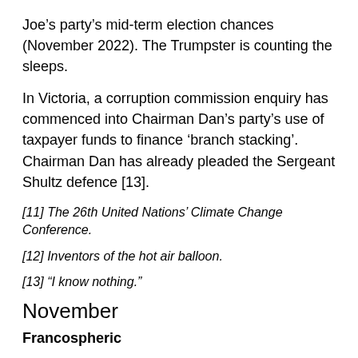Joe’s party’s mid-term election chances (November 2022). The Trumpster is counting the sleeps.
In Victoria, a corruption commission enquiry has commenced into Chairman Dan’s party’s use of taxpayer funds to finance ‘branch stacking’. Chairman Dan has already pleaded the Sergeant Shultz defence [13].
[11] The 26th United Nations’ Climate Change Conference.
[12] Inventors of the hot air balloon.
[13] “I know nothing.”
November
Francospheric
Macron de Gaulle’s dummy spit at being slighted by both America and Australia has little to do with French submarines.  It’s all about him: